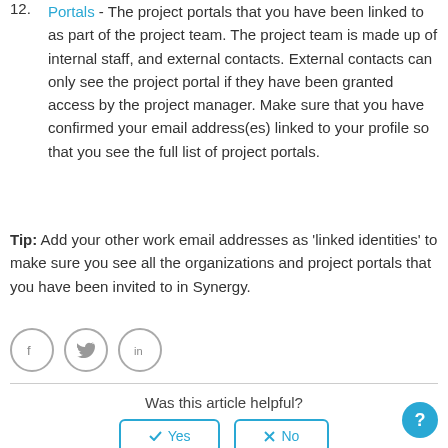12. Portals - The project portals that you have been linked to as part of the project team. The project team is made up of internal staff, and external contacts. External contacts can only see the project portal if they have been granted access by the project manager. Make sure that you have confirmed your email address(es) linked to your profile so that you see the full list of project portals.
Tip: Add your other work email addresses as 'linked identities' to make sure you see all the organizations and project portals that you have been invited to in Synergy.
[Figure (other): Social share icons: Facebook, Twitter, LinkedIn in circular outlines]
Was this article helpful?
Yes / No buttons